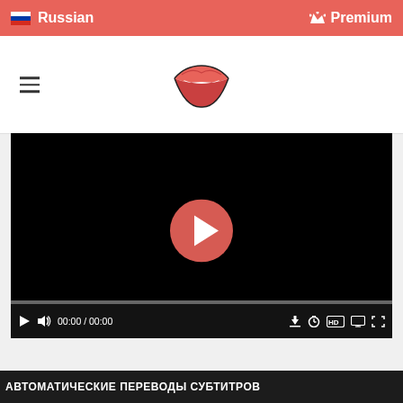Russian | Premium
[Figure (screenshot): Navigation bar with hamburger menu and lips logo icon]
[Figure (screenshot): Video player with black background, play button overlay, progress bar, and video controls showing 00:00 / 00:00]
АВТОМАТИЧЕСКИЕ ПЕРЕВОДЫ СУБТИТРОВ